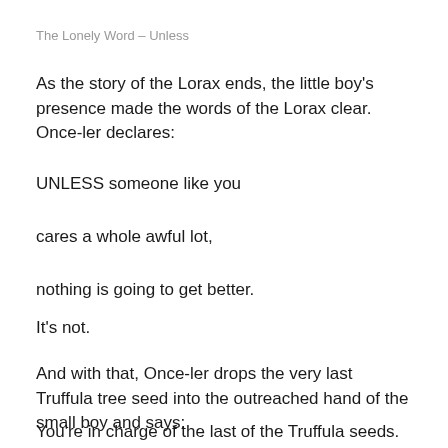The Lonely Word – Unless
As the story of the Lorax ends, the little boy's presence made the words of the Lorax clear. Once-ler declares:
UNLESS someone like you
cares a whole awful lot,
nothing is going to get better.
It's not.
And with that, Once-ler drops the very last Truffula tree seed into the outreached hand of the small boy and says:
You're in charge of the last of the Truffula seeds.